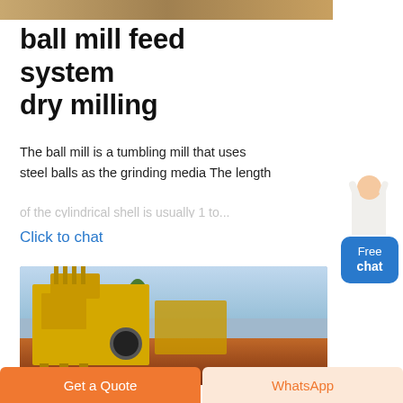[Figure (photo): Top partial photo of industrial equipment or landscape, cropped at top edge]
ball mill feed system dry milling
The ball mill is a tumbling mill that uses steel balls as the grinding media The length of the cylindrical shell is usually 1 to...
Click to chat
[Figure (illustration): Free chat widget with avatar of a woman and a blue button labeled Free chat]
[Figure (photo): Yellow industrial crusher/ball mill machine outdoors on red soil with blue sky and trees in background]
Get a Quote
WhatsApp